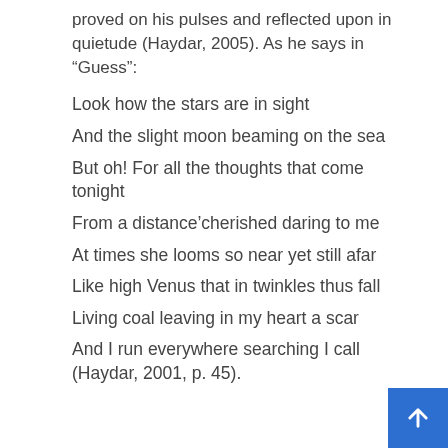proved on his pulses and reflected upon in quietude (Haydar, 2005). As he says in “Guess”:
Look how the stars are in sight
And the slight moon beaming on the sea
But oh! For all the thoughts that come tonight
From a distance’cherished daring to me
At times she looms so near yet still afar
Like high Venus that in twinkles thus fall
Living coal leaving in my heart a scar
And I run everywhere searching I call (Haydar, 2001, p. 45).